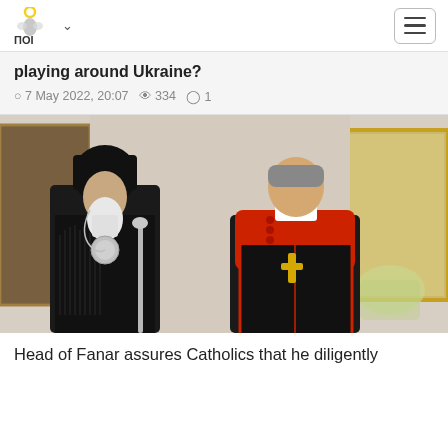ПОІ [logo with chevron and hamburger menu]
playing around Ukraine?
7 May 2022, 20:07  334  1
[Figure (photo): Two religious leaders standing together indoors. On the left, an Eastern Orthodox patriarch wearing a black robe and kalimavkion, holding a staff, with a long white beard and an ornate medallion. On the right, a Catholic cardinal wearing a black cassock with red trim, a bright red mozzetta, and a gold cross pendant. Behind them is a portrait of Pope Francis and decorative gold-framed paintings.]
Head of Fanar assures Catholics that he diligently